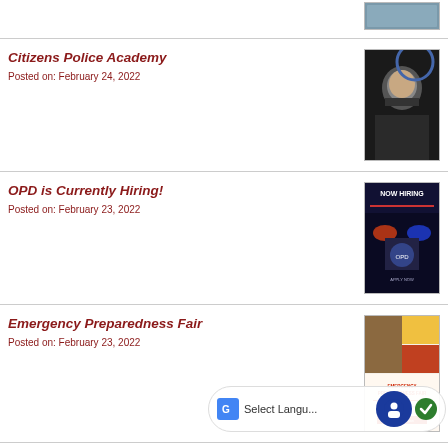Citizens Police Academy
Posted on: February 24, 2022
[Figure (photo): Portrait photo of a man in dark police uniform, smiling]
OPD is Currently Hiring!
Posted on: February 23, 2022
[Figure (photo): NOW HIRING police department flyer with blue and red lights]
Emergency Preparedness Fair
Posted on: February 23, 2022
[Figure (photo): Emergency Preparedness Fair flyer/poster collage]
Dog Adoption Event
Posted on: February 23, 2022
[Figure (photo): Dog Adoption Event image with colorful paw prints]
Select Language